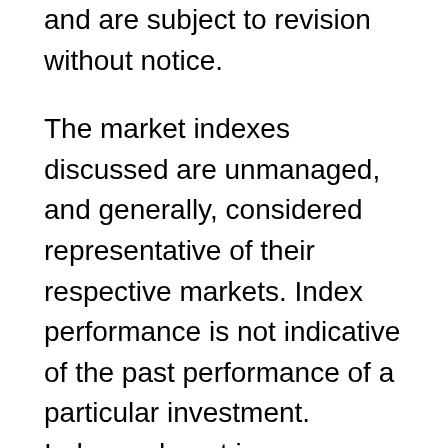and are subject to revision without notice.
The market indexes discussed are unmanaged, and generally, considered representative of their respective markets. Index performance is not indicative of the past performance of a particular investment. Indexes do not incur management fees, costs, and expenses. Individuals cannot directly invest in unmanaged indexes. Past performance is not a guarantee of future results.